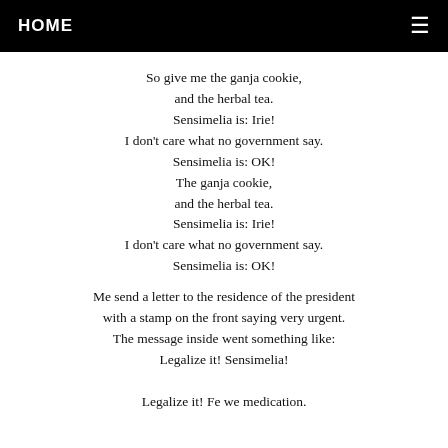HOME ≡
So give me the ganja cookie,
and the herbal tea.
Sensimelia is: Irie!
I don't care what no government say.
Sensimelia is: OK!
The ganja cookie,
and the herbal tea.
Sensimelia is: Irie!
I don't care what no government say.
Sensimelia is: OK!
Me send a letter to the residence of the president
with a stamp on the front saying very urgent.
The message inside went something like:
Legalize it! Sensimelia!

Legalize it! Fe we medication.